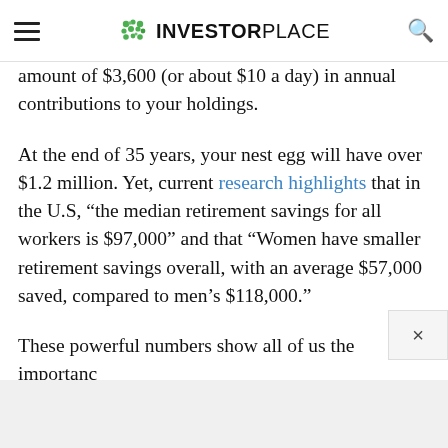INVESTORPLACE
amount of $3,600 (or about $10 a day) in annual contributions to your holdings.
At the end of 35 years, your nest egg will have over $1.2 million. Yet, current research highlights that in the U.S, "the median retirement savings for all workers is $97,000" and that "Women have smaller retirement savings overall, with an average $57,000 saved, compared to men's $118,000."
These powerful numbers show all of us the importance of investing in a low-cost fund such as SPY stock for